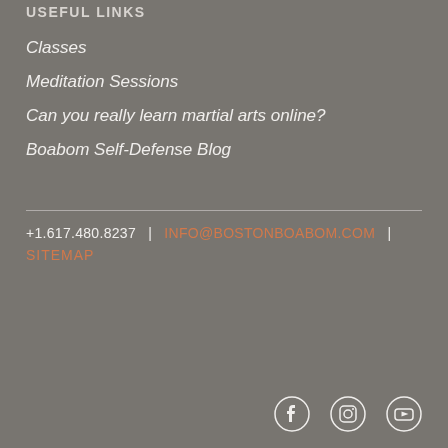USEFUL LINKS
Classes
Meditation Sessions
Can you really learn martial arts online?
Boabom Self-Defense Blog
+1.617.480.8237  |  INFO@BOSTONBOABOM.COM  |  SITEMAP
[Figure (other): Social media icons: Facebook, Instagram, YouTube]